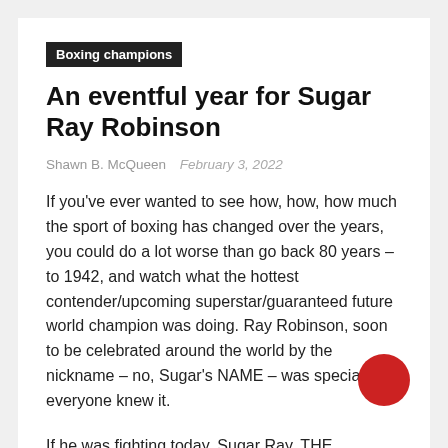Boxing champions
An eventful year for Sugar Ray Robinson
Shawn B. McQueen   February 3, 2022
If you’ve ever wanted to see how, how, how much the sport of boxing has changed over the years, you could do a lot worse than go back 80 years – to 1942, and watch what the hottest contender/upcoming superstar/guaranteed future world champion was doing. Ray Robinson, soon to be celebrated around the world by the nickname – no, Sugar’s NAME – was special and everyone knew it.
If he was fighting today, Sugar Ray, THE